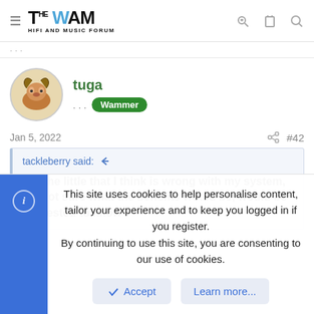THE WAM HIFI AND MUSIC FORUM
tuga ... Wammer
Jan 5, 2022 #42
tackleberry said: For the little that I think is wrong with my system, I'm not sure what the benefits would be, would be interested to know
This site uses cookies to help personalise content, tailor your experience and to keep you logged in if you register. By continuing to use this site, you are consenting to our use of cookies.